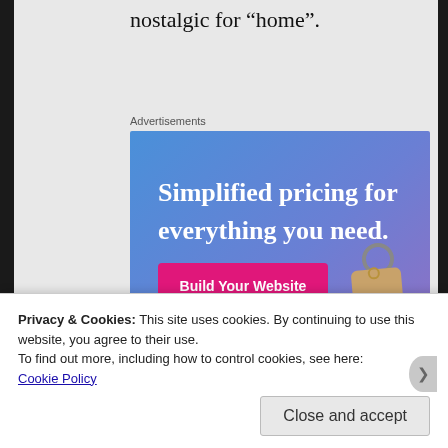nostalgic for “home”.
Advertisements
[Figure (advertisement): Squarespace advertisement with gradient blue-purple background, white text reading 'Simplified pricing for everything you need.', a pink 'Build Your Website' button, and a price tag graphic on the right.]
Privacy & Cookies: This site uses cookies. By continuing to use this website, you agree to their use.
To find out more, including how to control cookies, see here:
Cookie Policy
Close and accept